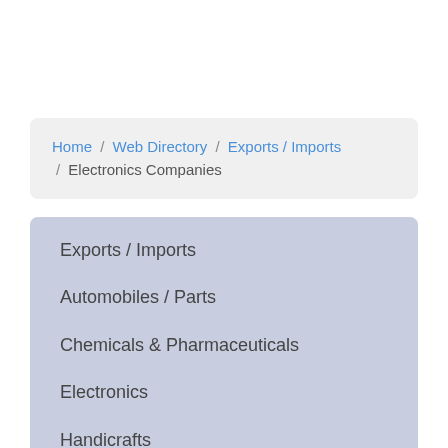Home / Web Directory / Exports / Imports / Electronics Companies
Exports / Imports
Automobiles / Parts
Chemicals & Pharmaceuticals
Electronics
Handicrafts
Jewellery
Leather